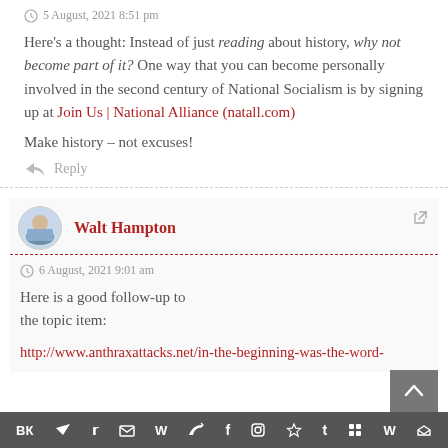5 August, 2021 8:51 pm
Here's a thought: Instead of just reading about history, why not become part of it? One way that you can become personally involved in the second century of National Socialism is by signing up at Join Us | National Alliance (natall.com)
Make history – not excuses!
Reply
Walt Hampton
6 August, 2021 9:01 am
Here is a good follow-up to the topic item:
http://www.anthraxattacks.net/in-the-beginning-was-the-word-